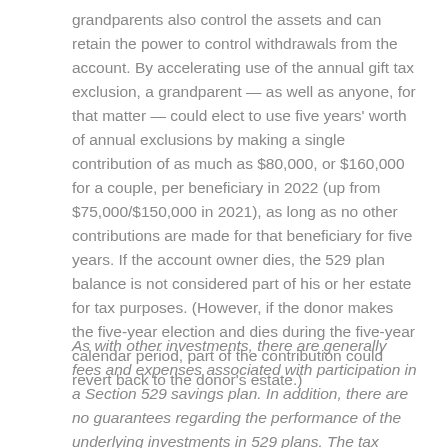grandparents also control the assets and can retain the power to control withdrawals from the account. By accelerating use of the annual gift tax exclusion, a grandparent — as well as anyone, for that matter — could elect to use five years' worth of annual exclusions by making a single contribution of as much as $80,000, or $160,000 for a couple, per beneficiary in 2022 (up from $75,000/$150,000 in 2021), as long as no other contributions are made for that beneficiary for five years. If the account owner dies, the 529 plan balance is not considered part of his or her estate for tax purposes. (However, if the donor makes the five-year election and dies during the five-year calendar period, part of the contribution could revert back to the donor's estate.)
As with other investments, there are generally fees and expenses associated with participation in a Section 529 savings plan. In addition, there are no guarantees regarding the performance of the underlying investments in 529 plans. The tax...